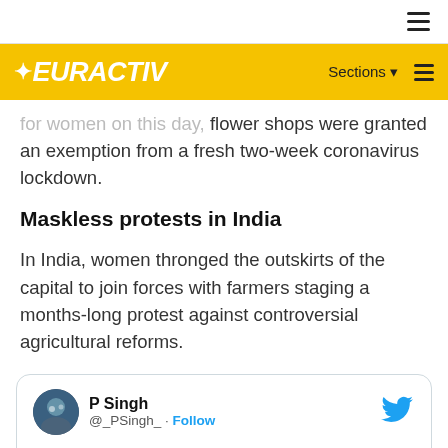EURACTIV — Sections ☰
for women on this day, flower shops were granted an exemption from a fresh two-week coronavirus lockdown.
Maskless protests in India
In India, women thronged the outskirts of the capital to join forces with farmers staging a months-long protest against controversial agricultural reforms.
P Singh @_PSingh_ · Follow
Women turn out in huge numbers to support India's farmer protests on International Women's Day | The